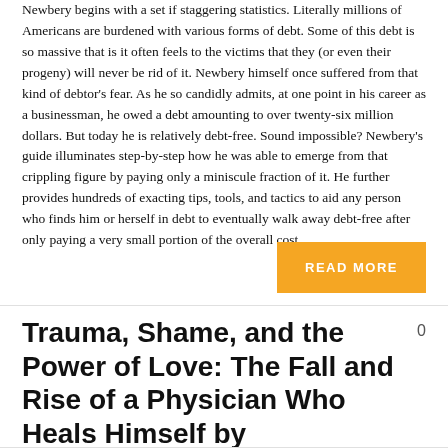Newbery begins with a set if staggering statistics. Literally millions of Americans are burdened with various forms of debt. Some of this debt is so massive that is it often feels to the victims that they (or even their progeny) will never be rid of it. Newbery himself once suffered from that kind of debtor's fear. As he so candidly admits, at one point in his career as a businessman, he owed a debt amounting to over twenty-six million dollars. But today he is relatively debt-free. Sound impossible? Newbery's guide illuminates step-by-step how he was able to emerge from that crippling figure by paying only a miniscule fraction of it. He further provides hundreds of exacting tips, tools, and tactics to aid any person who finds him or herself in debt to eventually walk away debt-free after only paying a very small portion of the overall cost.
READ MORE
Trauma, Shame, and the Power of Love: The Fall and Rise of a Physician Who Heals Himself by Christopher E. Pelloski, MD